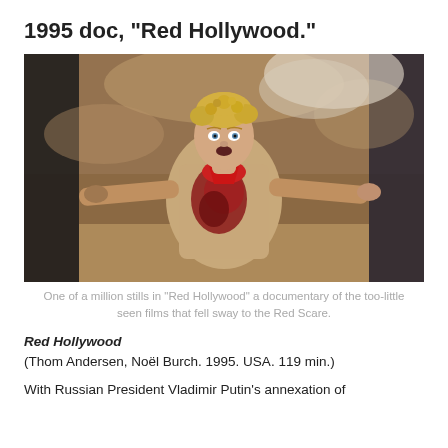1995 doc, "Red Hollywood."
[Figure (photo): Movie still from Red Hollywood documentary showing a young blonde man with arms outstretched, wearing a tan shirt stained red, with an alarmed expression, set against a reddish-brown rocky background.]
One of a million stills in "Red Hollywood" a documentary of the too-little seen films that fell sway to the Red Scare.
Red Hollywood
(Thom Andersen, Noël Burch. 1995. USA. 119 min.)
With Russian President Vladimir Putin's annexation of